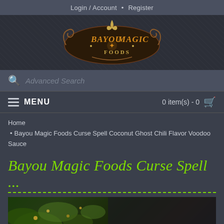Login / Account • Register
[Figure (logo): Bayou Magic Foods logo with orange decorative text on dark background with scrollwork]
Advanced Search
MENU   0 item(s) - 0
Home
• Bayou Magic Foods Curse Spell Coconut Ghost Chili Flavor Voodoo Sauce
Bayou Magic Foods Curse Spell ...
[Figure (photo): Product photo showing green plants/herbs on dark background with a New badge in the bottom right corner]